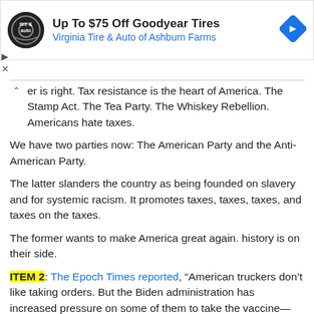[Figure (screenshot): Advertisement banner: Virginia Tire & Auto of Ashburn Farms — Up To $75 Off Goodyear Tires, with logo and navigation icon]
er is right. Tax resistance is the heart of America. The Stamp Act. The Tea Party. The Whiskey Rebellion. Americans hate taxes.
We have two parties now: The American Party and the Anti-American Party.
The latter slanders the country as being founded on slavery and for systemic racism. It promotes taxes, taxes, taxes, and taxes on the taxes.
The former wants to make America great again. history is on their side.
ITEM 2: The Epoch Times reported, "American truckers don't like taking orders. But the Biden administration has increased pressure on some of them to take the vaccine—willing or unwilling.